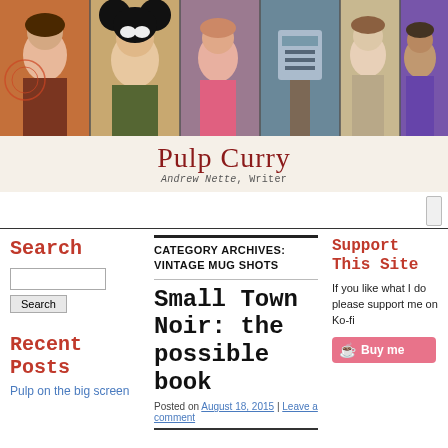[Figure (illustration): Collage header image showing multiple painted/illustrated figures including women, a Mickey Mouse character, and various noir-style characters in a comic/pulp art style]
Pulp Curry
Andrew Nette, Writer
CATEGORY ARCHIVES: VINTAGE MUG SHOTS
Search
Recent Posts
Pulp on the big screen
Small Town Noir: the possible book
Posted on August 18, 2015 | Leave a comment
Support This Site
If you like what I do please support me on Ko-fi